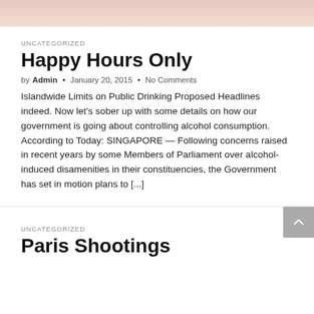[Figure (photo): Partial image at top of page, skin-toned/pinkish background, cropped]
UNCATEGORIZED
Happy Hours Only
by Admin · January 20, 2015 · No Comments
Islandwide Limits on Public Drinking Proposed Headlines indeed. Now let's sober up with some details on how our government is going about controlling alcohol consumption. According to Today: SINGAPORE — Following concerns raised in recent years by some Members of Parliament over alcohol-induced disamenities in their constituencies, the Government has set in motion plans to [...]
UNCATEGORIZED
Paris Shootings